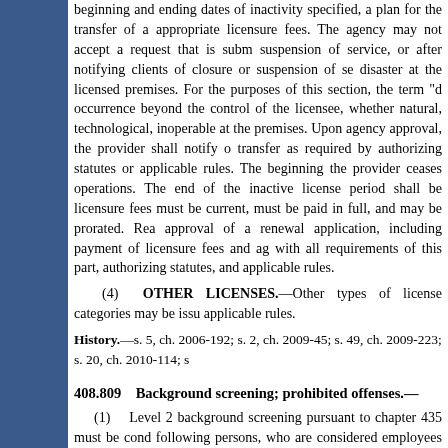beginning and ending dates of inactivity specified, a plan for the transfer of appropriate licensure fees. The agency may not accept a request that is submitted after beginning suspension of service, or after notifying clients of closure or suspension of service, or after a disaster at the licensed premises. For the purposes of this section, the term "d" means an occurrence beyond the control of the licensee, whether natural, technological, inoperable at the premises. Upon agency approval, the provider shall notify of transfer as required by authorizing statutes or applicable rules. The beginning the provider ceases operations. The end of the inactive license period shall be licensure fees must be current, must be paid in full, and may be prorated. Rea approval of a renewal application, including payment of licensure fees and ag with all requirements of this part, authorizing statutes, and applicable rules.
(4) OTHER LICENSES.—Other types of license categories may be issu applicable rules.
History.—s. 5, ch. 2006-192; s. 2, ch. 2009-45; s. 49, ch. 2009-223; s. 20, ch. 2010-114; s
408.809 Background screening; prohibited offenses.—
(1) Level 2 background screening pursuant to chapter 435 must be condu following persons, who are considered employees for the purposes of condu
(a) The licensee, if an individual.
(b) The administrator or a similarly titled person who is responsible for t
(c) The financial officer or similarly titled individual who is responsible or provider.
(d) Any person who is a controlling interest.